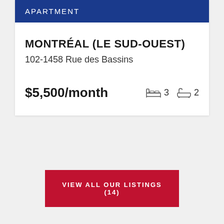APARTMENT
MONTRÉAL (LE SUD-OUEST)
102-1458 Rue des Bassins
$5,500/month  3 bedrooms  2 bathrooms
VIEW ALL OUR LISTINGS (14)